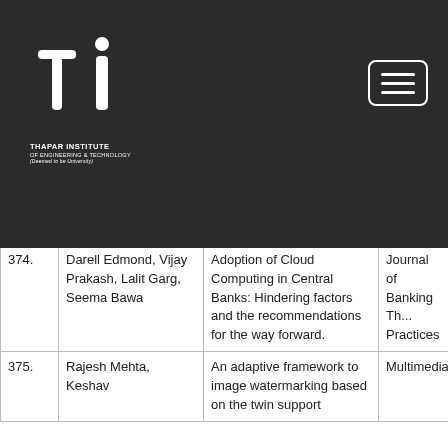Thapar Institute of Engineering & Technology (Deemed to be University)
| # | Authors | Title | Journal/Conference |
| --- | --- | --- | --- |
| 373. | Amritpal Singh, Neeraj Kumar | AdaptFlow: Adaptive Flow Forwarding Scheme for Software-Defined Industrial Networks. | IEEE Inter... |
| 374. | Darell Edmond, Vijay Prakash, Lalit Garg, Seema Bawa | Adoption of Cloud Computing in Central Banks: Hindering factors and the recommendations for the way forward. | Journal of Banking Th... Practices |
| 375. | Rajesh Mehta, Keshav | An adaptive framework to image watermarking based on the twin support | Multimedia... |